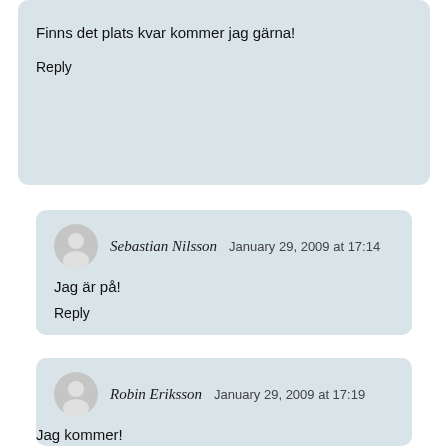Finns det plats kvar kommer jag gärna!
Reply
Sebastian Nilsson  January 29, 2009 at 17:14
Jag är på!
Reply
Robin Eriksson  January 29, 2009 at 17:19
Jag kommer!
Reply